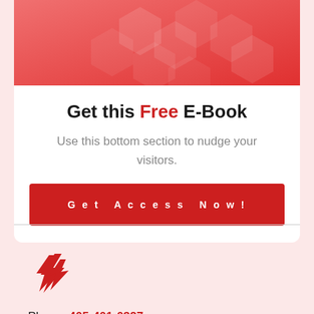[Figure (illustration): Partial view of a red e-book cover with hexagon pattern design]
Get this Free E-Book
Use this bottom section to nudge your visitors.
Get Access Now!
[Figure (logo): Red lightning bolt / arrow logo mark]
Phone: 405-401-0327